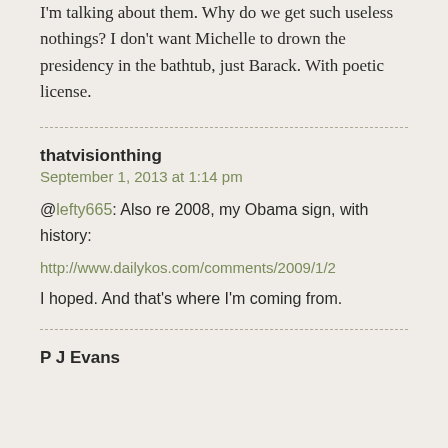I'm talking about them. Why do we get such useless nothings? I don't want Michelle to drown the presidency in the bathtub, just Barack. With poetic license.
thatvisionthing
September 1, 2013 at 1:14 pm
@lefty665: Also re 2008, my Obama sign, with history:
http://www.dailykos.com/comments/2009/1/2
I hoped. And that's where I'm coming from.
P J Evans